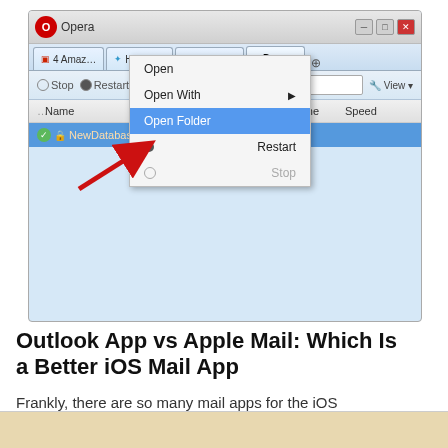[Figure (screenshot): Opera browser download manager showing a right-click context menu with 'Open Folder' highlighted in blue, and a red arrow pointing to 'Open Folder'. The downloaded file is 'NewDatabase.kdbv'.]
Outlook App vs Apple Mail: Which Is a Better iOS Mail App
Frankly, there are so many mail apps for the iOS platform that it can be difficult to zero in on one. More challenging is sticking...